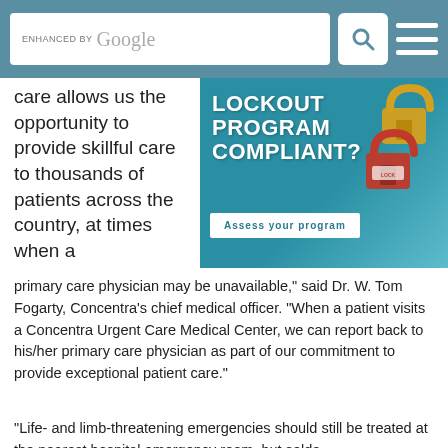ENHANCED BY Google [search bar] [menu]
care allows us the opportunity to provide skillful care to thousands of patients across the country, at times when a
[Figure (infographic): Ad banner: LOCKOUT PROGRAM COMPLIANT? Assess your program — with padlocks image on teal background]
primary care physician may be unavailable," said Dr. W. Tom Fogarty, Concentra's chief medical officer. "When a patient visits a Concentra Urgent Care Medical Center, we can report back to his/her primary care physician as part of our commitment to provide exceptional patient care."
"Life- and limb-threatening emergencies should still be treated at the nearest hospital emergency room, but seldo-